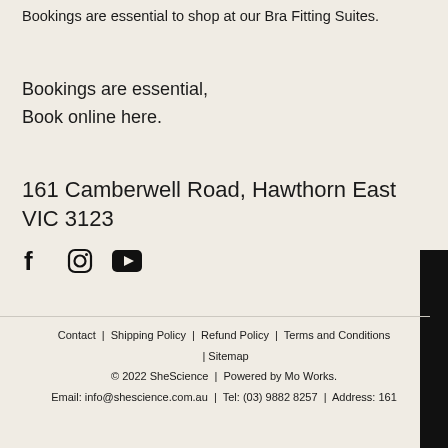Bookings are essential to shop at our Bra Fitting Suites.
Bookings are essential,
Book online here.
161 Camberwell Road, Hawthorn East VIC 3123
[Figure (illustration): Social media icons: Facebook, Instagram, YouTube]
[Figure (other): Black vertical panel on right edge]
Contact | Shipping Policy | Refund Policy | Terms and Conditions | Sitemap
© 2022 SheScience | Powered by Mo Works.
Email: info@shescience.com.au | Tel: (03) 9882 8257 | Address: 161